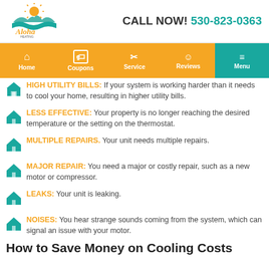[Figure (logo): Aloha Heating & Cooling logo with sun and water waves]
CALL NOW! 530-823-0363
[Figure (infographic): Navigation bar with Home, Coupons, Service, Reviews, Menu items]
HIGH UTILITY BILLS: If your system is working harder than it needs to cool your home, resulting in higher utility bills.
LESS EFFECTIVE: Your property is no longer reaching the desired temperature or the setting on the thermostat.
MULTIPLE REPAIRS. Your unit needs multiple repairs.
MAJOR REPAIR: You need a major or costly repair, such as a new motor or compressor.
LEAKS: Your unit is leaking.
NOISES: You hear strange sounds coming from the system, which can signal an issue with your motor.
How to Save Money on Cooling Costs